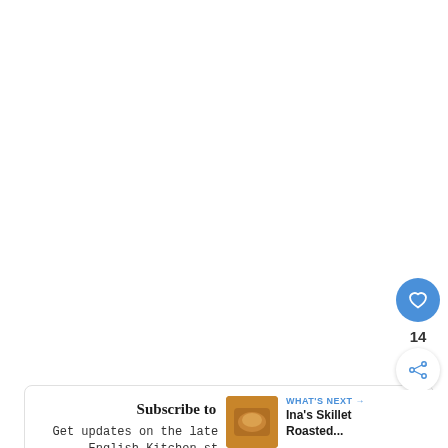[Figure (other): Blue circular like/heart button with heart icon, showing count 14 below, and a share button (circle with share icon) below that]
Subscribe to The English Kit
Get updates on the latest posts and more from The English Kitchen straight to your inbox.
[Figure (other): WHAT'S NEXT callout with thumbnail image of Ina's Skillet Roasted dish and text 'Ina's Skillet Roasted...']